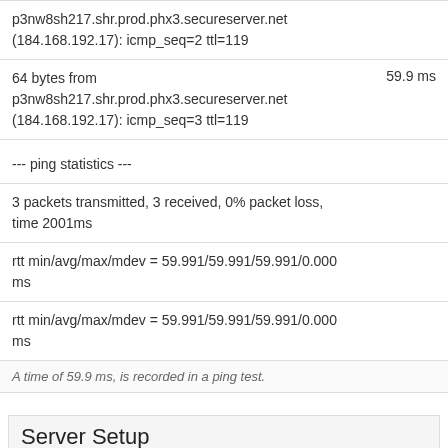p3nw8sh217.shr.prod.phx3.secureserver.net (184.168.192.17): icmp_seq=2 ttl=119
64 bytes from p3nw8sh217.shr.prod.phx3.secureserver.net (184.168.192.17): icmp_seq=3 ttl=119	59.9 ms
--- ping statistics ---
3 packets transmitted, 3 received, 0% packet loss, time 2001ms
rtt min/avg/max/mdev = 59.991/59.991/59.991/0.000 ms
rtt min/avg/max/mdev = 59.991/59.991/59.991/0.000 ms
A time of 59.9 ms, is recorded in a ping test.
Server Setup
Content-